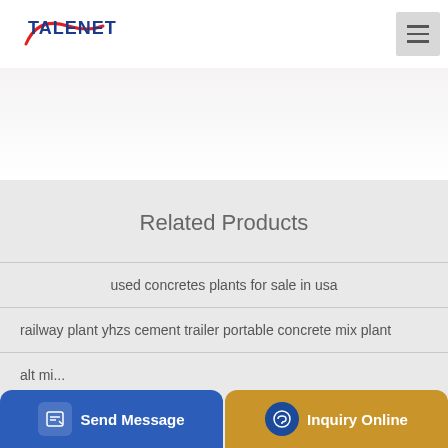[Figure (logo): TALENET company logo with red swoosh]
[Figure (other): Hamburger menu button (three horizontal lines)]
[Figure (photo): White/light grey banner background area]
Related Products
used concretes plants for sale in usa
railway plant yhzs cement trailer portable concrete mix plant
alt mi...
[Figure (other): Send Message button (blue rounded rectangle with document icon)]
[Figure (other): Inquiry Online button (gold/tan rounded rectangle with headset icon)]